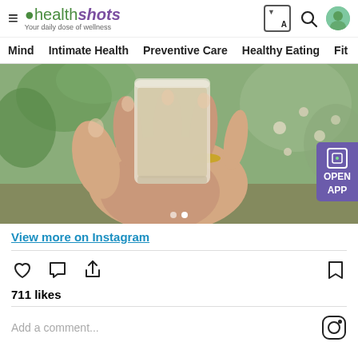healthshots — Your daily dose of wellness
Mind | Intimate Health | Preventive Care | Healthy Eating | Fit
[Figure (photo): A hand holding a glass with a light-colored drink (possibly a nut milk or smoothie), with green foliage in the background. Open App button visible in bottom right.]
View more on Instagram
711 likes
Add a comment...